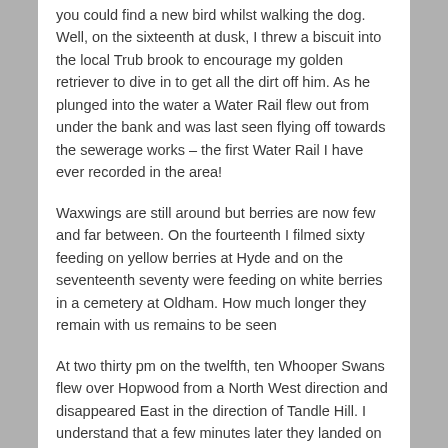you could find a new bird whilst walking the dog. Well, on the sixteenth at dusk, I threw a biscuit into the local Trub brook to encourage my golden retriever to dive in to get all the dirt off him. As he plunged into the water a Water Rail flew out from under the bank and was last seen flying off towards the sewerage works – the first Water Rail I have ever recorded in the area!
Waxwings are still around but berries are now few and far between. On the fourteenth I filmed sixty feeding on yellow berries at Hyde and on the seventeenth seventy were feeding on white berries in a cemetery at Oldham. How much longer they remain with us remains to be seen
At two thirty pm on the twelfth, ten Whooper Swans flew over Hopwood from a North West direction and disappeared East in the direction of Tandle Hill. I understand that a few minutes later they landed on Hollingworth Lake.
In the early hours of the fourteenth I was awakened by a